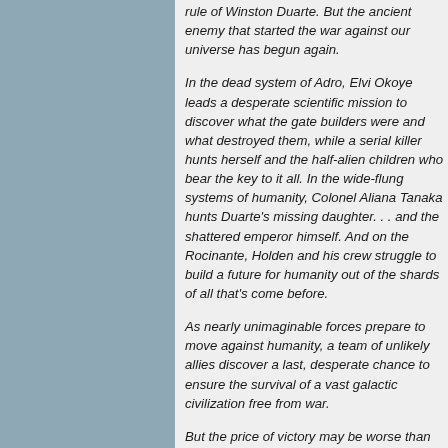rule of Winston Duarte. But the ancient enemy that started the war against our universe has begun again.
In the dead system of Adro, Elvi Okoye leads a desperate scientific mission to discover what the gate builders were and what destroyed them, while a serial killer hunts herself and the half-alien children who bear the key to it all. In the wide-flung systems of humanity, Colonel Aliana Tanaka hunts Duarte's missing daughter. . . and the shattered emperor himself. And on the Rocinante, Holden and his crew struggle to build a future for humanity out of the shards of all that's come before.
As nearly unimaginable forces prepare to move against humanity, a team of unlikely allies discover a last, desperate chance to ensure the survival of a vast galactic civilization free from war.
But the price of victory may be worse than defeat.
The folks at Polygon.com have posted an